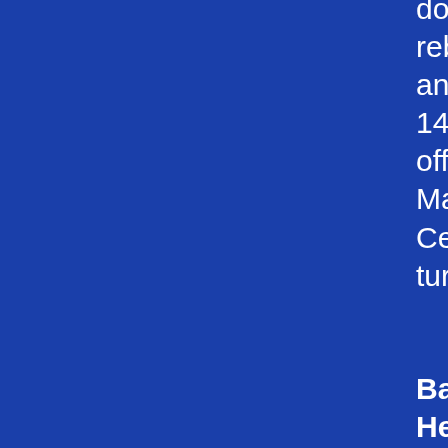down 48 rebounds, and scored 14 points off 13 Madison Central turnovers.
Bailey Hensley led Madison Central with 21 points including seven of nine free throws, eight rebounds, and two blocked shots. Eden Carter added 17 points, three rebounds, and three stea...